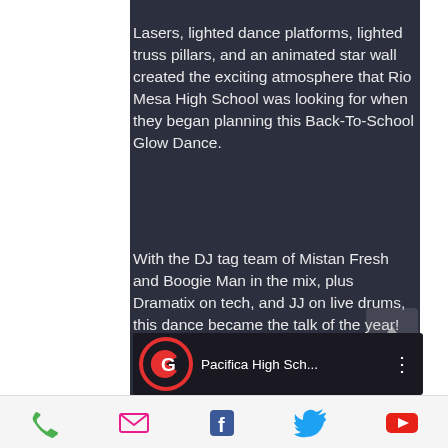Lasers, lighted dance platforms, lighted truss pillars, and an animated star wall created the exciting atmosphere that Rio Mesa High School was looking for when they began planning this Back-To-School Glow Dance.
With the DJ tag team of Mistan Fresh and Boogie Man in the mix, plus Dramatix on tech, and JJ on live drums, this dance became the talk of the year!
[Figure (screenshot): YouTube video thumbnail showing Pacifica High Sch... with a red G logo icon and three-dot menu]
[Figure (other): Bottom navigation bar with phone, email, Facebook, Twitter, and YouTube icons]